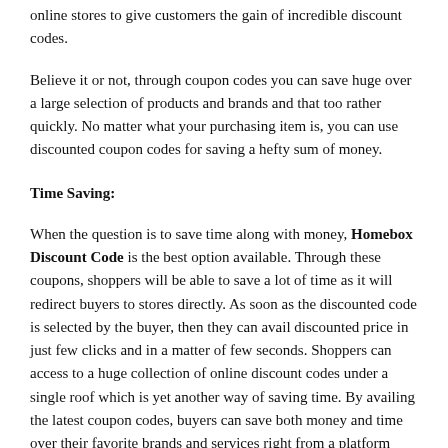online stores to give customers the gain of incredible discount codes.
Believe it or not, through coupon codes you can save huge over a large selection of products and brands and that too rather quickly. No matter what your purchasing item is, you can use discounted coupon codes for saving a hefty sum of money.
Time Saving:
When the question is to save time along with money, Homebox Discount Code is the best option available. Through these coupons, shoppers will be able to save a lot of time as it will redirect buyers to stores directly. As soon as the discounted code is selected by the buyer, then they can avail discounted price in just few clicks and in a matter of few seconds. Shoppers can access to a huge collection of online discount codes under a single roof which is yet another way of saving time. By availing the latest coupon codes, buyers can save both money and time over their favorite brands and services right from a platform which is reliable.
So, if you are looking for Homebox Discount Code which allows you